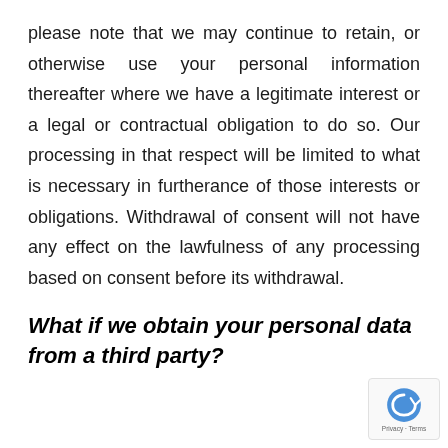please note that we may continue to retain, or otherwise use your personal information thereafter where we have a legitimate interest or a legal or contractual obligation to do so. Our processing in that respect will be limited to what is necessary in furtherance of those interests or obligations. Withdrawal of consent will not have any effect on the lawfulness of any processing based on consent before its withdrawal.
What if we obtain your personal data from a third party?